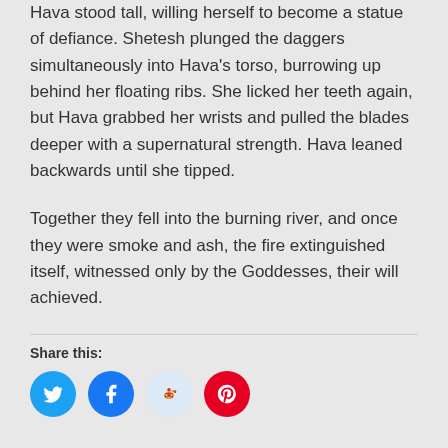Hava stood tall, willing herself to become a statue of defiance. Shetesh plunged the daggers simultaneously into Hava's torso, burrowing up behind her floating ribs. She licked her teeth again, but Hava grabbed her wrists and pulled the blades deeper with a supernatural strength. Hava leaned backwards until she tipped.
Together they fell into the burning river, and once they were smoke and ash, the fire extinguished itself, witnessed only by the Goddesses, their will achieved.
Share this:
[Figure (infographic): Four circular social media share buttons: Twitter (blue), Facebook (dark blue), Reddit (light blue), Pinterest (red)]